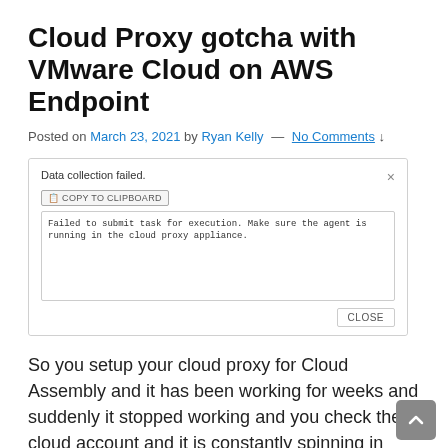Cloud Proxy gotcha with VMware Cloud on AWS Endpoint
Posted on March 23, 2021 by Ryan Kelly — No Comments ↓
[Figure (screenshot): Dialog box showing 'Data collection failed.' with a 'Copy to Clipboard' button, a textarea containing the error message 'Failed to submit task for execution. Make sure the agent is running in the cloud proxy appliance.', and a 'CLOSE' button.]
So you setup your cloud proxy for Cloud Assembly and it has been working for weeks and suddenly it stopped working and you check the cloud account and it is constantly spinning in data collection. Eventually it pops up with the following error: Failed to submit task